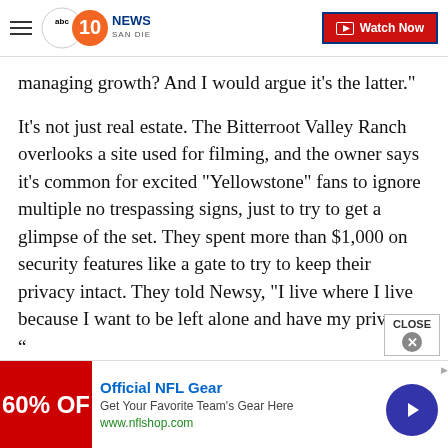ABC 10News San Diego — Watch Now
managing growth? And I would argue it's the latter."
It’s not just real estate. The Bitterroot Valley Ranch overlooks a site used for filming, and the owner says it’s common for excited "Yellowstone" fans to ignore multiple no trespassing signs, just to try to get a glimpse of the set. They spent more than $1,000 on security features like a gate to try to keep their privacy intact. They told Newsy, "I live where I live because I want to be left alone and have my privacy... “
Back at Ruby’s Café, Brenda is the first to say that
[Figure (screenshot): Advertisement banner: Official NFL Gear, 60% OFF, Get Your Favorite Team's Gear Here, www.nflshop.com]